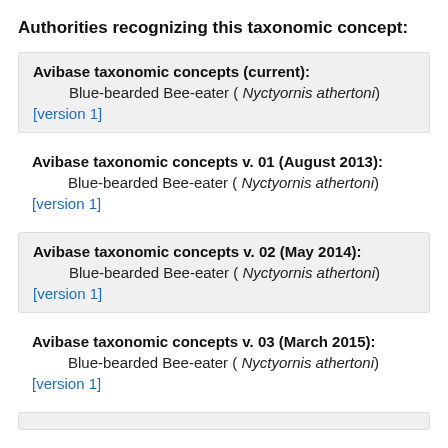Authorities recognizing this taxonomic concept:
Avibase taxonomic concepts (current):
    Blue-bearded Bee-eater ( Nyctyornis athertoni)
[version 1]
Avibase taxonomic concepts v. 01 (August 2013):
    Blue-bearded Bee-eater ( Nyctyornis athertoni)
[version 1]
Avibase taxonomic concepts v. 02 (May 2014):
    Blue-bearded Bee-eater ( Nyctyornis athertoni)
[version 1]
Avibase taxonomic concepts v. 03 (March 2015):
    Blue-bearded Bee-eater ( Nyctyornis athertoni)
[version 1]